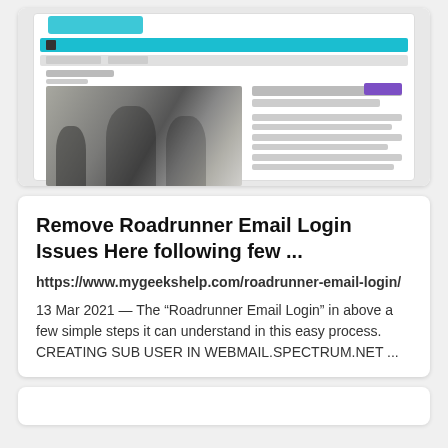[Figure (screenshot): Blurred screenshot of a website with a teal/cyan navigation bar, a logo in the top left, a nav menu, an image of people in a meeting/office, sidebar text blocks, and a purple button.]
Remove Roadrunner Email Login Issues Here following few ...
https://www.mygeekshelp.com/roadrunner-email-login/
13 Mar 2021 — The “Roadrunner Email Login” in above a few simple steps it can understand in this easy process. CREATING SUB USER IN WEBMAIL.SPECTRUM.NET ...